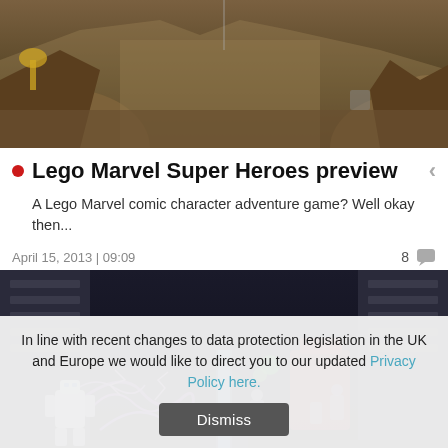[Figure (screenshot): Top portion of a video game screenshot showing a rocky desert canyon environment with golden/brown tones and dramatic lighting]
Lego Marvel Super Heroes preview
A Lego Marvel comic character adventure game? Well okay then...
April 15, 2013 | 09:09    8
[Figure (screenshot): Video game screenshot showing LEGO characters in a dark sci-fi interior environment with purple lightning effects and blue light beam]
In line with recent changes to data protection legislation in the UK and Europe we would like to direct you to our updated Privacy Policy here.
Dismiss